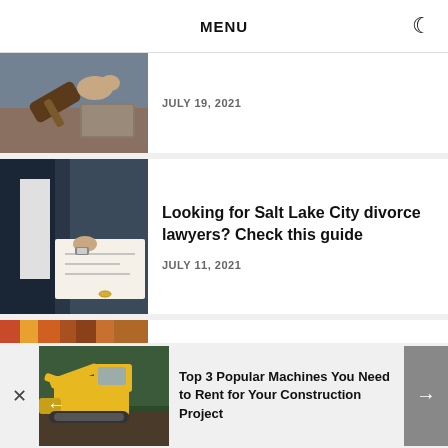MENU
[Figure (photo): Person with gavel at desk, legal/court scene]
JULY 19, 2021
[Figure (photo): Person signing legal documents with stamp]
Looking for Salt Lake City divorce lawyers? Check this guide
JULY 11, 2021
[Figure (photo): Keys and books, law office background]
What to Expect When You Hire a Las
[Figure (photo): Yellow excavator construction machine outdoors]
Top 3 Popular Machines You Need to Rent for Your Construction Project